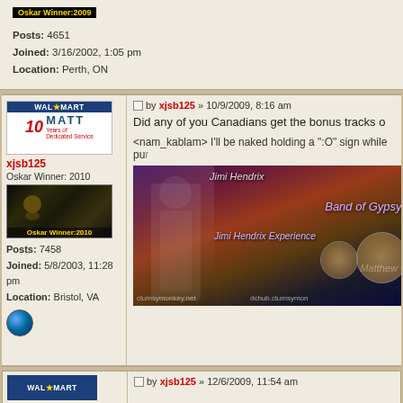Posts: 4651
Joined: 3/16/2002, 1:05 pm
Location: Perth, ON
[Figure (screenshot): Forum post by xjsb125 with Walmart/Matt avatar and Oskar Winner 2010 badge]
by xjsb125 » 10/9/2009, 8:16 am
Did any of you Canadians get the bonus tracks on...
<nam_kablam> I'll be naked holding a ":O" sign while pur...
[Figure (photo): Jimi Hendrix collage showing Band of Gypsys, Jimi Hendrix Experience, Matthew C, with clumsymonkey.net watermark]
Posts: 7458
Joined: 5/8/2003, 11:28 pm
Location: Bristol, VA
by xjsb125 » 12/6/2009, 11:54 am